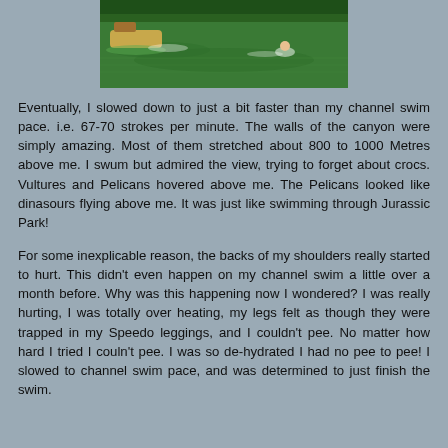[Figure (photo): Aerial or river-level view of a green river with a boat and a swimmer visible on the water surface, surrounded by green water.]
Eventually, I slowed down to just a bit faster than my channel swim pace. i.e. 67-70 strokes per minute. The walls of the canyon were simply amazing. Most of them stretched about 800 to 1000 Metres above me. I swum but admired the view, trying to forget about crocs. Vultures and Pelicans hovered above me. The Pelicans looked like dinasours flying above me. It was just like swimming through Jurassic Park!
For some inexplicable reason, the backs of my shoulders really started to hurt. This didn't even happen on my channel swim a little over a month before. Why was this happening now I wondered? I was really hurting, I was totally over heating, my legs felt as though they were trapped in my Speedo leggings, and I couldn't pee. No matter how hard I tried I couln't pee. I was so de-hydrated I had no pee to pee! I slowed to channel swim pace, and was determined to just finish the swim.